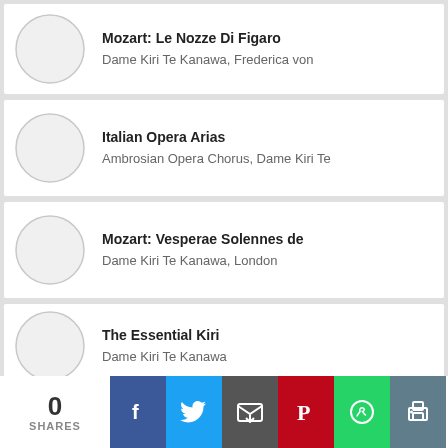Mozart: Le Nozze Di Figaro — Dame Kiri Te Kanawa, Frederica von
Italian Opera Arias — Ambrosian Opera Chorus, Dame Kiri Te
Mozart: Vesperae Solennes de — Dame Kiri Te Kanawa, London
The Essential Kiri — Dame Kiri Te Kanawa
0 SHARES